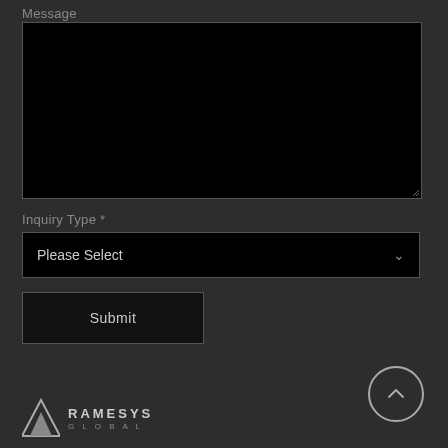Message
[Figure (screenshot): Large black textarea input field for message entry]
Inquiry Type *
[Figure (screenshot): Dropdown select box with placeholder text 'Please Select' and a chevron arrow on the right]
[Figure (screenshot): Submit button with label 'Submit']
[Figure (logo): Ramesys Global logo with mountain/triangle icon and text 'RAMESYS GLOBAL']
[Figure (other): Back to top button — circle with upward chevron arrow]